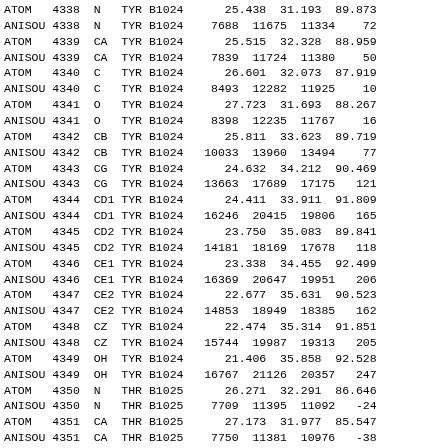ATOM   4338  N   TYR B1024      25.438  31.193  89.873
ANISOU 4338  N   TYR B1024    7688  11675  11334    72
ATOM   4339  CA  TYR B1024      25.515  32.328  88.959
ANISOU 4339  CA  TYR B1024    7839  11724  11380    50
ATOM   4340  C   TYR B1024      26.601  32.073  87.919
ANISOU 4340  C   TYR B1024    8493  12282  11925    10
ATOM   4341  O   TYR B1024      27.723  31.693  88.267
ANISOU 4341  O   TYR B1024    8398  12235  11767    16
ATOM   4342  CB  TYR B1024      25.811  33.623  89.719
ANISOU 4342  CB  TYR B1024   10033  13960  13494    77
ATOM   4343  CG  TYR B1024      24.632  34.212  90.469
ANISOU 4343  CG  TYR B1024   13663  17689  17175   121
ATOM   4344  CD1 TYR B1024      24.411  33.911  91.809
ANISOU 4344  CD1 TYR B1024   16246  20415  19806   165
ATOM   4345  CD2 TYR B1024      23.750  35.083  89.841
ANISOU 4345  CD2 TYR B1024   14181  18169  17678   118
ATOM   4346  CE1 TYR B1024      23.338  34.455  92.499
ANISOU 4346  CE1 TYR B1024   16369  20647  19951   206
ATOM   4347  CE2 TYR B1024      22.677  35.631  90.523
ANISOU 4347  CE2 TYR B1024   14853  18949  18385   162
ATOM   4348  CZ  TYR B1024      22.474  35.314  91.851
ANISOU 4348  CZ  TYR B1024   15744  19987  19313   205
ATOM   4349  OH  TYR B1024      21.406  35.858  92.528
ANISOU 4349  OH  TYR B1024   16767  21126  20357   247
ATOM   4350  N   THR B1025      26.271  32.291  86.646
ANISOU 4350  N   THR B1025    7709  11395  11092   -24
ATOM   4351  CA  THR B1025      27.173  31.977  85.547
ANISOU 4351  CA  THR B1025    7750  11381  10976   -38
ATOM   4352  C   THR B1025      27.273  33.157  84.590
ANISOU 4352  C   THR B1025    8616  12175  11661   -29